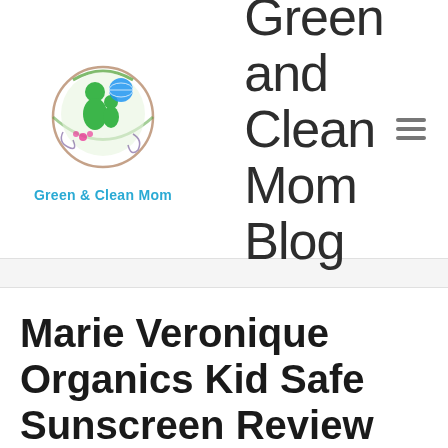[Figure (logo): Green & Clean Mom logo with circular green figure and decorative elements, with text 'Green & Clean Mom' in blue below]
Green and Clean Mom Blog
Marie Veronique Organics Kid Safe Sunscreen Review
This website uses cookies to improve your experience. We'll assume you're ok with this, but you can opt-out if you wish.